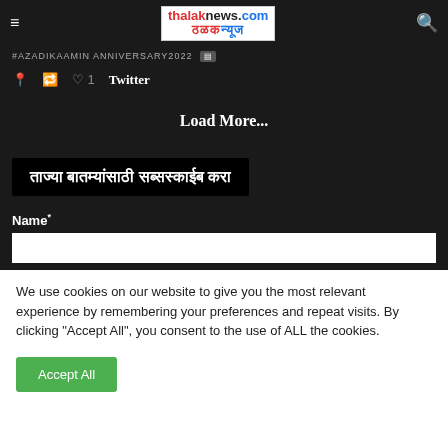[Figure (logo): Thalak News logo with text 'thalaknews.com' in English and Marathi script below]
#azadikaamin anniversary2022
Twitter
Load More...
ताज्या बातम्यांसाठी सब्सस्काईब करा
Name*
We use cookies on our website to give you the most relevant experience by remembering your preferences and repeat visits. By clicking "Accept All", you consent to the use of ALL the cookies.
Accept All